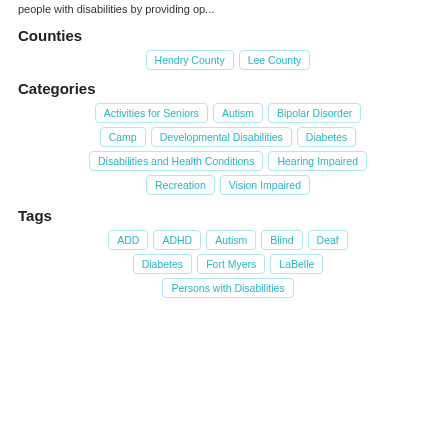people with disabilities by providing op...
Counties
Hendry County
Lee County
Categories
Activities for Seniors
Autism
Bipolar Disorder
Camp
Developmental Disabilities
Diabetes
Disabilities and Health Conditions
Hearing Impaired
Recreation
Vision Impaired
Tags
ADD
ADHD
Autism
Blind
Deaf
Diabetes
Fort Myers
LaBelle
Persons with Disabilities